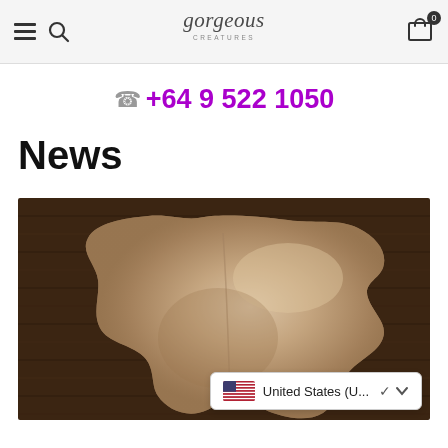gorgeous creatures — navigation header with hamburger, search, logo, and cart (0)
📞 +64 9 522 1050
News
[Figure (photo): A cowhide rug laid flat on dark wood flooring, photographed from above. The hide is light beige/tan in color, showing natural markings, spread out with irregular edges visible.]
United States (U... ▾